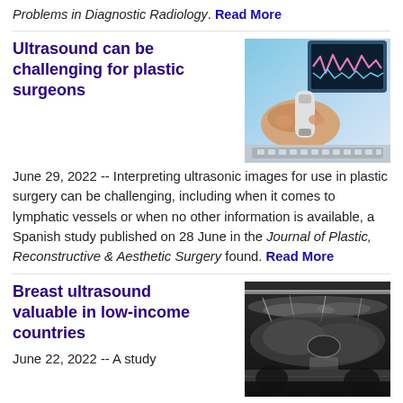Problems in Diagnostic Radiology. Read More
Ultrasound can be challenging for plastic surgeons
[Figure (photo): Person holding an ultrasound probe with ultrasound monitor screen visible in background showing waveforms.]
June 29, 2022 -- Interpreting ultrasonic images for use in plastic surgery can be challenging, including when it comes to lymphatic vessels or when no other information is available, a Spanish study published on 28 June in the Journal of Plastic, Reconstructive & Aesthetic Surgery found. Read More
Breast ultrasound valuable in low-income countries
[Figure (photo): Black and white breast ultrasound image showing tissue layers.]
June 22, 2022 -- A study